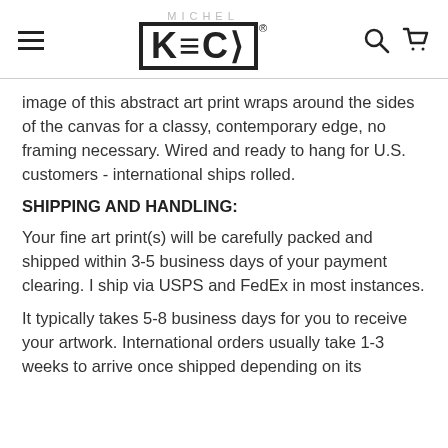MICHEL KECK (logo with hamburger menu, search, and cart icons)
image of this abstract art print wraps around the sides of the canvas for a classy, contemporary edge, no framing necessary. Wired and ready to hang for U.S. customers - international ships rolled.
SHIPPING AND HANDLING:
Your fine art print(s) will be carefully packed and shipped within 3-5 business days of your payment clearing. I ship via USPS and FedEx in most instances.
It typically takes 5-8 business days for you to receive your artwork. International orders usually take 1-3 weeks to arrive once shipped depending on its